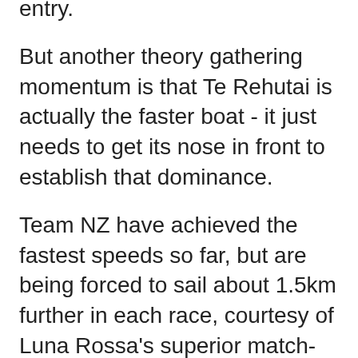entry.
But another theory gathering momentum is that Te Rehutai is actually the faster boat - it just needs to get its nose in front to establish that dominance.
Team NZ have achieved the fastest speeds so far, but are being forced to sail about 1.5km further in each race, courtesy of Luna Rossa's superior match-racing tactics. Even when they lose, the Kiwis can keep the contest reasonably close.
When they get ahead early, the result is usually a blowout - they won by 1m 41s in Saturday's second race.
As everyone has plainly seen, the starts are crucial.
Today's racing will take place on Course A, as it was